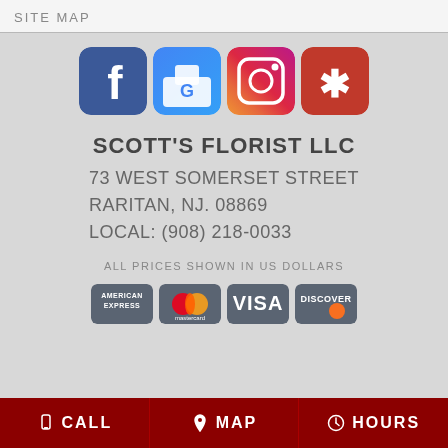SITE MAP
[Figure (logo): Social media icons: Facebook, Google My Business, Instagram, Yelp]
SCOTT'S FLORIST LLC
73 WEST SOMERSET STREET
RARITAN, NJ. 08869
LOCAL: (908) 218-0033
ALL PRICES SHOWN IN US DOLLARS
[Figure (logo): Payment method icons: American Express, Mastercard, Visa, Discover]
CALL   MAP   HOURS